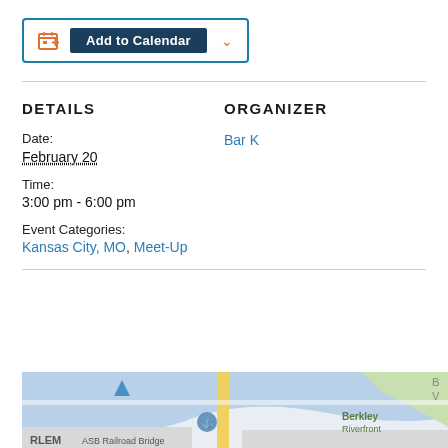[Figure (screenshot): Add to Calendar button with calendar icon and dropdown chevron, inside a blue-bordered box]
DETAILS
ORGANIZER
Date:
February 20
Time:
3:00 pm - 6:00 pm
Event Categories:
Kansas City, MO, Meet-Up
Bar K
[Figure (map): Street map showing ASB Railroad Bridge area, Harlem neighborhood, and Berkley Riverfront area in Kansas City, MO]